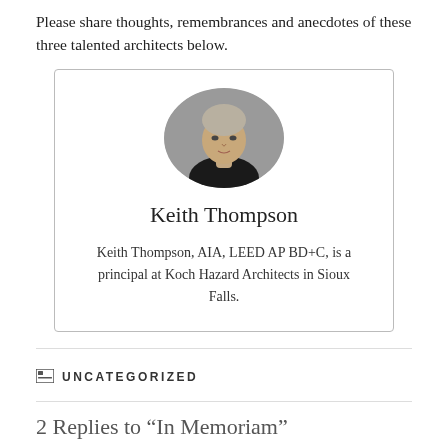Please share thoughts, remembrances and anecdotes of these three talented architects below.
[Figure (photo): Oval portrait photo of Keith Thompson, a man with light features wearing a dark jacket, against a gray background. Below the photo is the name 'Keith Thompson' and a short biography.]
Keith Thompson
Keith Thompson, AIA, LEED AP BD+C, is a principal at Koch Hazard Architects in Sioux Falls.
UNCATEGORIZED
2 Replies to “In Memoriam”